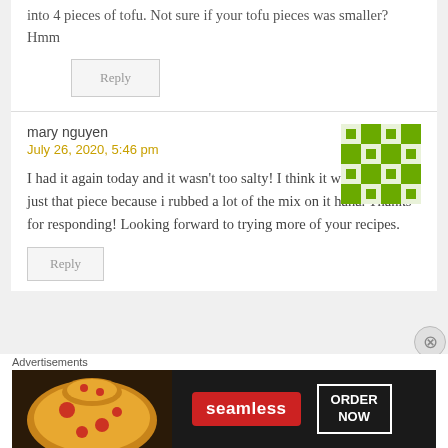into 4 pieces of tofu. Not sure if your tofu pieces was smaller? Hmm
Reply
mary nguyen
July 26, 2020, 5:46 pm
[Figure (illustration): Green pixel-art avatar icon for user mary nguyen]
I had it again today and it wasn’t too salty! I think it was probably just that piece because i rubbed a lot of the mix on it haha. Thanks for responding! Looking forward to trying more of your recipes.
Reply
Advertisements
[Figure (illustration): Seamless food delivery advertisement banner with pizza image on dark background, red Seamless logo, and ORDER NOW button]